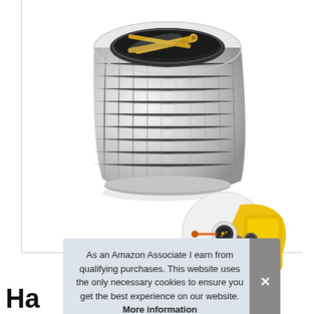[Figure (photo): A silver/chrome knurled metal RF connector (PL-259 or similar coaxial connector) shown from front angle, with gold-colored center pins visible inside the threaded barrel.]
[Figure (photo): Small inset photo showing the connector being used to connect to a yellow device, with a cable attached.]
As an Amazon Associate I earn from qualifying purchases. This website uses the only necessary cookies to ensure you get the best experience on our website. More information
Ha